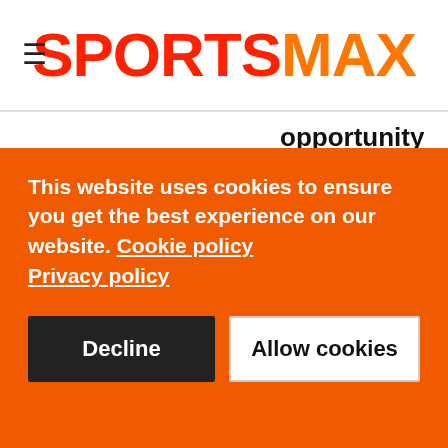SPORTSMAX
opportunity to create meaningful change", saying they were "committed to investing in programmes in Northeast Ohio that will educate
This website uses cookies to ensure you get the best experience on our website. Cookie policy Privacy policy
Decline
Allow cookies